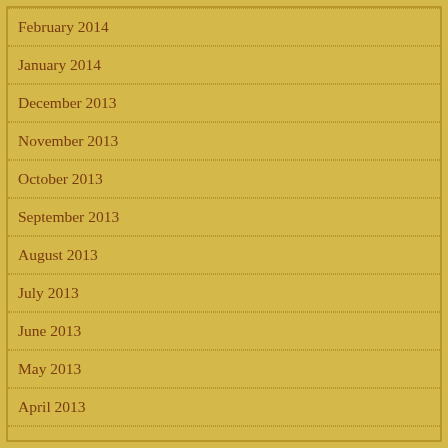February 2014
January 2014
December 2013
November 2013
October 2013
September 2013
August 2013
July 2013
June 2013
May 2013
April 2013
March 2013
February 2013